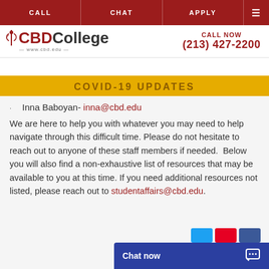CALL | CHAT | APPLY
[Figure (logo): CBD College logo with caduceus icon and www.cbd.edu tagline]
CALL NOW (213) 427-2200
COVID-19 UPDATES
Inna Baboyan- inna@cbd.edu
We are here to help you with whatever you may need to help navigate through this difficult time. Please do not hesitate to reach out to anyone of these staff members if needed.  Below you will also find a non-exhaustive list of resources that may be available to you at this time. If you need additional resources not listed, please reach out to studentaffairs@cbd.edu.